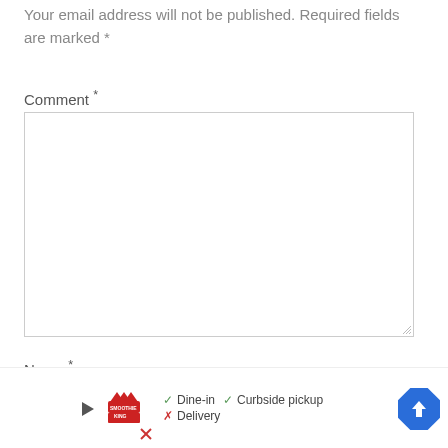Your email address will not be published. Required fields are marked *
Comment *
Name *
[Figure (screenshot): A web comment form with a large empty comment textarea and a Name input field, with a Google Maps/restaurant info overlay bar at the bottom showing Smoothie King logo, Dine-in, Curbside pickup, Delivery options and a navigation arrow.]